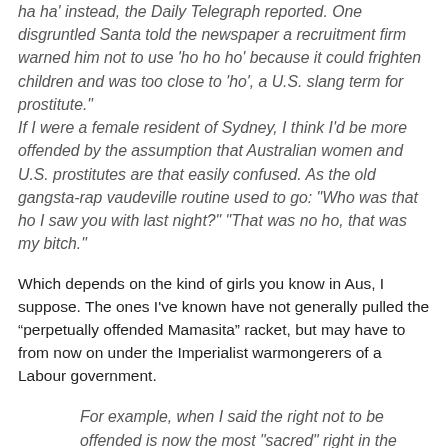ha ha' instead, the Daily Telegraph reported. One disgruntled Santa told the newspaper a recruitment firm warned him not to use 'ho ho ho' because it could frighten children and was too close to 'ho', a U.S. slang term for prostitute." If I were a female resident of Sydney, I think I'd be more offended by the assumption that Australian women and U.S. prostitutes are that easily confused. As the old gangsta-rap vaudeville routine used to go: "Who was that ho I saw you with last night?" "That was no ho, that was my bitch."
Which depends on the kind of girls you know in Aus, I suppose. The ones I've known have not generally pulled the “perpetually offended Mamasita” racket, but may have to from now on under the Imperialist warmongerers of a Labour government.
For example, when I said the right not to be offended is now the most "sacred" right in the world, I certainly didn't mean to offend persons of a nontheistic persuasion. In Hanover, N.H., home